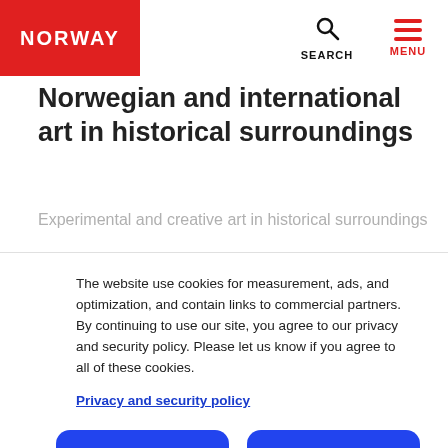NORWAY | SEARCH | MENU
Norwegian and international art in historical surroundings
Experimental and creative art in historical surroundings
The website use cookies for measurement, ads, and optimization, and contain links to commercial partners. By continuing to use our site, you agree to our privacy and security policy. Please let us know if you agree to all of these cookies.
Privacy and security policy
Required only
Yes, that´s OK!
Edit settings